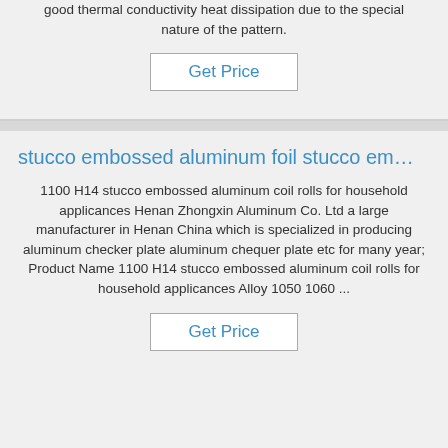good thermal conductivity heat dissipation due to the special nature of the pattern.
Get Price
stucco embossed aluminum foil stucco em…
1100 H14 stucco embossed aluminum coil rolls for household applicances Henan Zhongxin Aluminum Co. Ltd a large manufacturer in Henan China which is specialized in producing aluminum checker plate aluminum chequer plate etc for many year; Product Name 1100 H14 stucco embossed aluminum coil rolls for household applicances Alloy 1050 1060 ...
Get Price